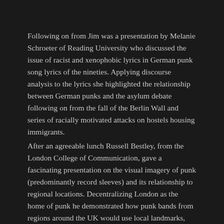Following on from Jim was a presentation by Melanie Schroeter of Reading University who discussed the issue of racist and xenophobic lyrics in German punk song lyrics of the nineties. Applying discourse analysis to the lyrics she highlighted the relationship between German punks and the asylum debate following on from the fall of the Berlin Wall and series of racially motivated attacks on hostels housing immigrants.
After an agreeable lunch Russell Bestley, from the London College of Communication, gave a fascinating presentation on the visual imagery of punk (predominantly record sleeves) and its relationship to regional locations. Decentralizing London as the home of punk he demonstrated how punk bands from regions around the UK would use local landmarks, such as street signs and